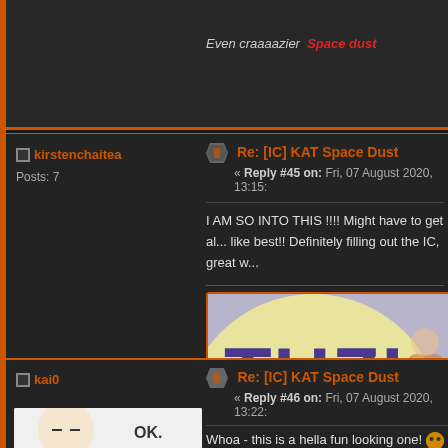Even craaaazier Space dust
kirstenchaitea
Posts: 7
Re: [IC] KAT Space Dust
« Reply #45 on: Fri, 07 August 2020, 13:15:
I AM SO INTO THIS !!!! Might have to get al... like best!! Definitely filling out the IC, great w...
[Figure (illustration): TUZI 兔子 logo banner with large bold purple text on a yellow circle background, with a light purple background]
kai0
Re: [IC] KAT Space Dust
« Reply #46 on: Fri, 07 August 2020, 13:22:
Whoa - this is a hella fun looking one!
[Figure (photo): Saitama from One Punch Man OK meme image]